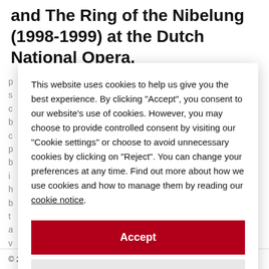and The Ring of the Nibelung (1998-1999) at the Dutch National Opera.
This website uses cookies to help us give you the best experience. By clicking "Accept", you consent to our website's use of cookies. However, you may choose to provide controlled consent by visiting our "Cookie settings" or choose to avoid unnecessary cookies by clicking on "Reject". You can change your preferences at any time. Find out more about how we use cookies and how to manage them by reading our cookie notice.
Accept
Reject
Cookie settings
© 2005-2022 ITSLIQUID Group